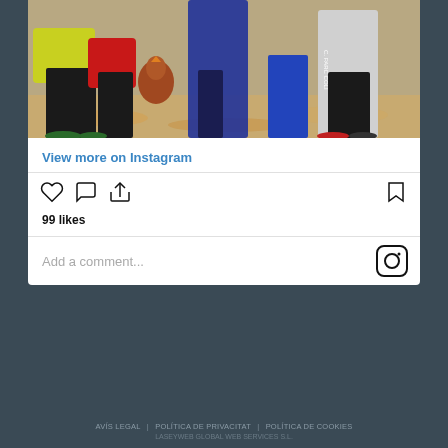[Figure (photo): People crouching and standing around a brown/red chicken on a ground covered with grain/sawdust. People wearing yellow, red, blue, and white clothing.]
View more on Instagram
99 likes
Add a comment...
AVÍS LEGAL | POLÍTICA DE PRIVACITAT | POLÍTICA DE COOKIES
LASEYWEB GLOBAL WEB SERVICES S.L.